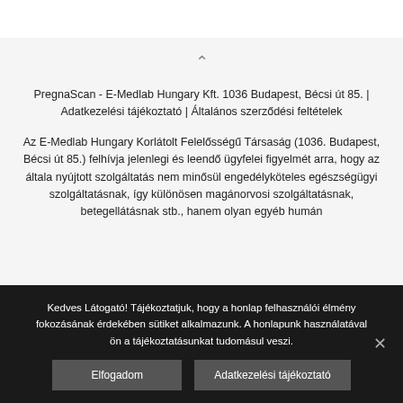PregnaScan - E-Medlab Hungary Kft. 1036 Budapest, Bécsi út 85. | Adatkezelési tájékoztató | Általános szerződési feltételek
Az E-Medlab Hungary Korlátolt Felelősségű Társaság (1036. Budapest, Bécsi út 85.) felhívja jelenlegi és leendő ügyfelei figyelmét arra, hogy az általa nyújtott szolgáltatás nem minősül engedélyköteles egészségügyi szolgáltatásnak, így különösen magánorvosi szolgáltatásnak, betegellátásnak stb., hanem olyan egyéb humán
Kedves Látogató! Tájékoztatjuk, hogy a honlap felhasználói élmény fokozásának érdekében sütiket alkalmazunk. A honlapunk használatával ön a tájékoztatásunkat tudomásul veszi.
Elfogadom
Adatkezelési tájékoztató